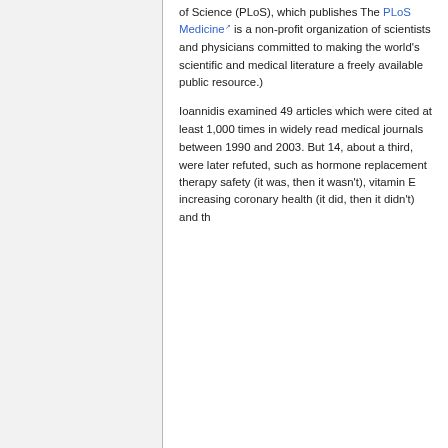of Science (PLoS), which publishes The PLoS Medicine is a non-profit organization of scientists and physicians committed to making the world's scientific and medical literature a freely available public resource.)
Ioannidis examined 49 articles which were cited at least 1,000 times in widely read medical journals between 1990 and 2003. But 14, about a third, were later refuted, such as hormone replacement therapy safety (it was, then it wasn't), vitamin E increasing coronary health (it did, then it didn't) and the...